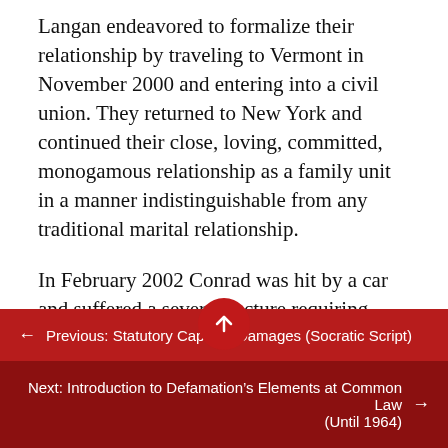Langan endeavored to formalize their relationship by traveling to Vermont in November 2000 and entering into a civil union. They returned to New York and continued their close, loving, committed, monogamous relationship as a family unit in a manner indistinguishable from any traditional marital relationship.
In February 2002 Conrad was hit by a car and suffered a severe fracture requiring hospitalization at the defendant St. Vincent's Hospital of New York. After two surgeries Conrad died. *92 The plaintiff commenced the
← Previous: Statutory Caps on Damages (Socratic Script)
Next: Introduction to Defamation's Elements at Common Law (Until 1964) →